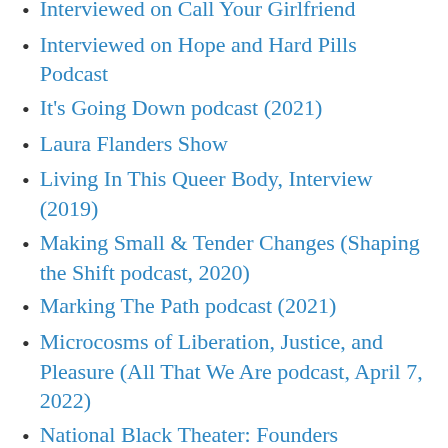Interviewed on Call Your Girlfriend
Interviewed on Hope and Hard Pills Podcast
It's Going Down podcast (2021)
Laura Flanders Show
Living In This Queer Body, Interview (2019)
Making Small & Tender Changes (Shaping the Shift podcast, 2020)
Marking The Path podcast (2021)
Microcosms of Liberation, Justice, and Pleasure (All That We Are podcast, April 7, 2022)
National Black Theater: Founders Symposium
Nekkid Conversations podcast (2021)
New Years Practice: Cast a Spell with amb
Next Economy Now Podcast – with Ryan